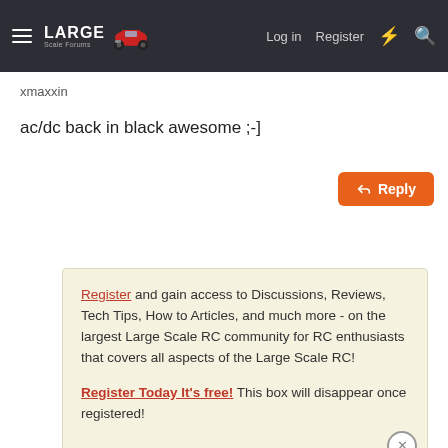Large Scale Forums — Log in  Register
xmaxxin
ac/dc back in black awesome ;-]
Reply
Register and gain access to Discussions, Reviews, Tech Tips, How to Articles, and much more - on the largest Large Scale RC community for RC enthusiasts that covers all aspects of the Large Scale RC! Register Today It's free! This box will disappear once registered!